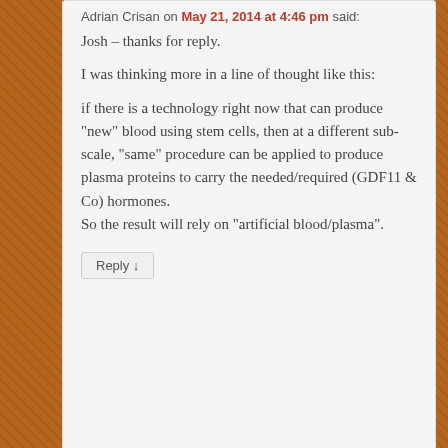Adrian Crisan on May 21, 2014 at 4:46 pm said:
Josh – thanks for reply.
I was thinking more in a line of thought like this:
if there is a technology right now that can produce “new” blood using stem cells, then at a different sub-scale, “same” procedure can be applied to produce plasma proteins to carry the needed/required (GDF11 & Co) hormones.
So the result will rely on “artificial blood/plasma”.
Reply ↓
[Figure (illustration): Generic user avatar placeholder showing silhouette of a person (head and body) on a grey background]
Eric on November 22, 2014 at 4:00 am said:
It would also be fair to hypothesize that the “youth